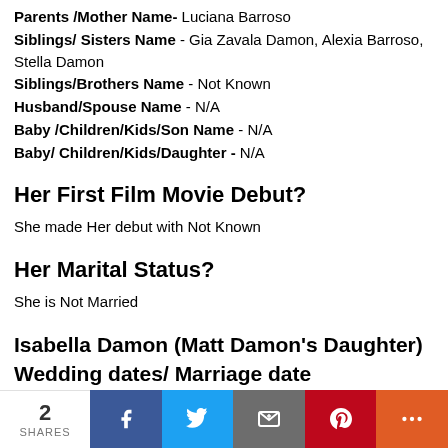Parents /Mother Name- Luciana Barroso
Siblings/ Sisters Name - Gia Zavala Damon, Alexia Barroso, Stella Damon
Siblings/Brothers Name - Not Known
Husband/Spouse Name - N/A
Baby /Children/Kids/Son Name - N/A
Baby/ Children/Kids/Daughter - N/A
Her First Film Movie Debut?
She made Her debut with Not Known
Her Marital Status?
She is Not Married
Isabella Damon (Matt Damon's Daughter) Wedding dates/ Marriage date
2 SHARES | Facebook | Twitter | Email | Pinterest | More